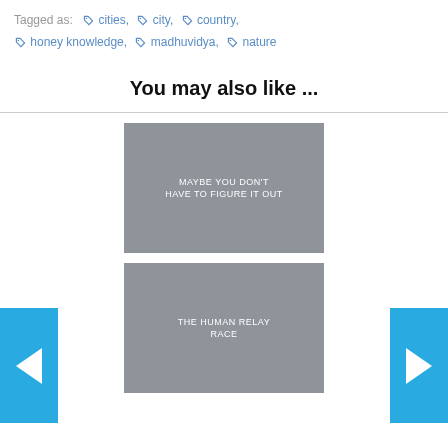Tagged as: cities, city, country, honey knowledge, madhuvidya, nature
You may also like ...
[Figure (other): Gray card thumbnail with text: MAYBE YOU DON'T HAVE TO FIGURE IT OUT]
[Figure (other): Gray card thumbnail with text: THE HUMAN RELAY RACE]
[Figure (other): Left navigation arrow button (cyan/blue)]
[Figure (other): Right navigation arrow button (cyan/blue)]